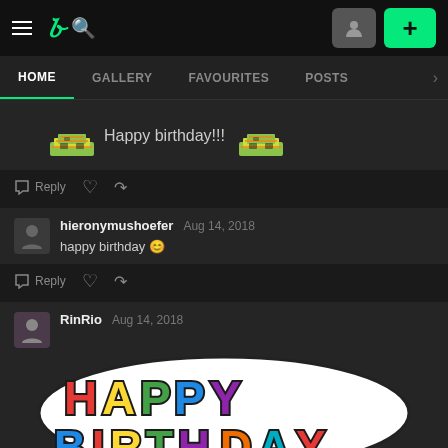[Figure (screenshot): DeviantArt website navigation bar with hamburger menu, DA logo, search icon, user avatar button, and green plus button]
HOME   GALLERY   FAVOURITES   POSTS
[Figure (illustration): Two birthday cake pixel art emojis with text 'Happy birthday!!!' between them]
Reply
hieronymushoefer   Aug 14, 2018
happy birthday 🙂
Reply
RinRio   Aug 14, 2018
[Figure (illustration): Colorful bubble-letter 'HAPPY BIRTHDAY' graphic with red, yellow, green, blue, purple letters and black outline on white background]